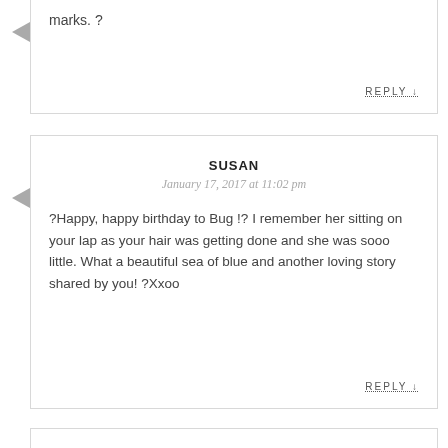marks. ?
REPLY ↓
SUSAN
January 17, 2017 at 11:02 pm
?Happy, happy birthday to Bug !? I remember her sitting on your lap as your hair was getting done and she was sooo little. What a beautiful sea of blue and another loving story shared by you! ?Xxoo
REPLY ↓
KRISTEN
January 18, 2017 at 7:32 am